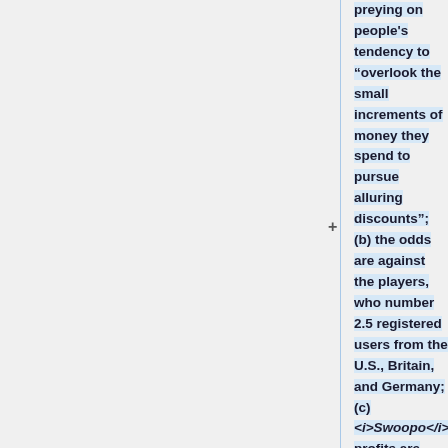preying on people's tendency to “overlook the small increments of money they spend to pursue alluring discounts”; (b) the odds are against the players, who number 2.5 registered users from the U.S., Britain, and Germany; (c) <i>Swoopo</i>'s profits are very high; (d) the bidding